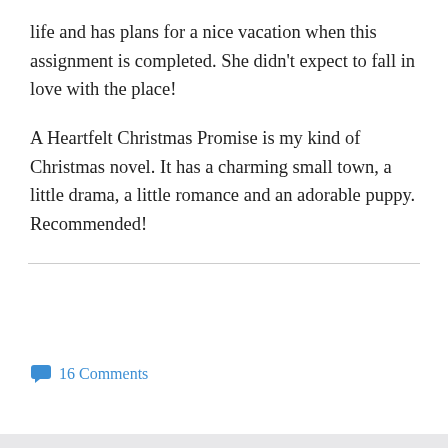life and has plans for a nice vacation when this assignment is completed. She didn't expect to fall in love with the place!
A Heartfelt Christmas Promise is my kind of Christmas novel. It has a charming small town, a little drama, a little romance and an adorable puppy. Recommended!
16 Comments